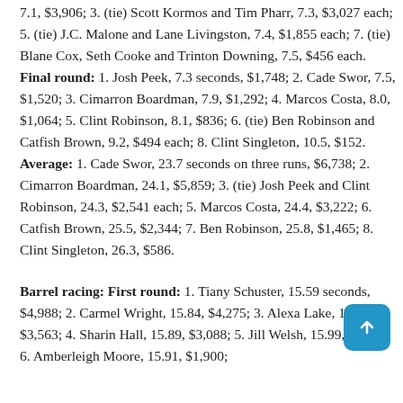7.1, $3,906; 3. (tie) Scott Kormos and Tim Pharr, 7.3, $3,027 each; 5. (tie) J.C. Malone and Lane Livingston, 7.4, $1,855 each; 7. (tie) Blane Cox, Seth Cooke and Trinton Downing, 7.5, $456 each. Final round: 1. Josh Peek, 7.3 seconds, $1,748; 2. Cade Swor, 7.5, $1,520; 3. Cimarron Boardman, 7.9, $1,292; 4. Marcos Costa, 8.0, $1,064; 5. Clint Robinson, 8.1, $836; 6. (tie) Ben Robinson and Catfish Brown, 9.2, $494 each; 8. Clint Singleton, 10.5, $152. Average: 1. Cade Swor, 23.7 seconds on three runs, $6,738; 2. Cimarron Boardman, 24.1, $5,859; 3. (tie) Josh Peek and Clint Robinson, 24.3, $2,541 each; 5. Marcos Costa, 24.4, $3,222; 6. Catfish Brown, 25.5, $2,344; 7. Ben Robinson, 25.8, $1,465; 8. Clint Singleton, 26.3, $586.
Barrel racing: First round: 1. Tiany Schuster, 15.59 seconds, $4,988; 2. Carmel Wright, 15.84, $4,275; 3. Alexa Lake, 15.85, $3,563; 4. Sharin Hall, 15.89, $3,088; 5. Jill Welsh, 15.99, $2,375; 6. Amberleigh Moore, 15.91, $1,900;